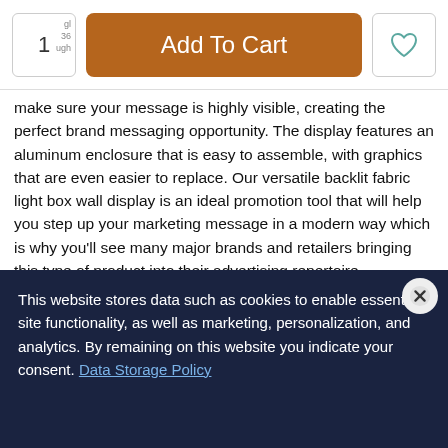[Figure (screenshot): Top navigation bar with quantity input box showing '1', orange 'Add To Cart' button, and heart/wishlist icon button]
make sure your message is highly visible, creating the perfect brand messaging opportunity. The display features an aluminum enclosure that is easy to assemble, with graphics that are even easier to replace. Our versatile backlit fabric light box wall display is an ideal promotion tool that will help you step up your marketing message in a modern way which is why you'll see many major brands and retailers bringing this type of product into their advertising repertoire.
Features and Benefits:
Available in 24" x 36", 36" x 48", 48" x 60"
Can be oriented portrait or landscape
Silicone Edge Graphic, or SEG, for quick and easy graphic installation and replacement
Personalized, vivid, high quality dye sublimation printing
This website stores data such as cookies to enable essential site functionality, as well as marketing, personalization, and analytics. By remaining on this website you indicate your consent. Data Storage Policy